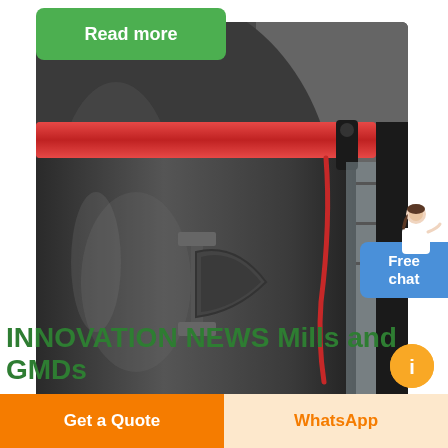Read more
[Figure (photo): Close-up photo of an industrial mill or GMD (gearless mill drive) showing a large dark metal cylindrical body with a red clamping ring/band at the top and a metal chute or access panel on the side. Industrial machinery with black structure visible in the background.]
Free chat
INNOVATION NEWS Mills and GMDs
Get a Quote
WhatsApp